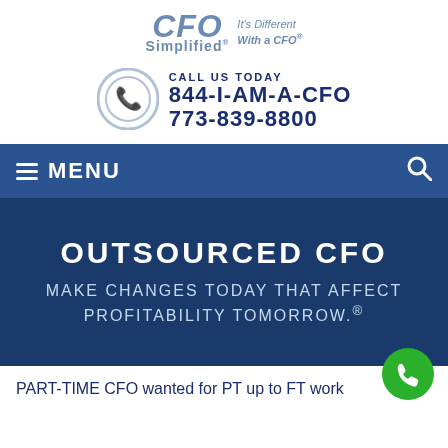[Figure (logo): CFO Simplified logo with tagline 'It's Different With a CFO']
CALL US TODAY
844-I-AM-A-CFO
773-839-8800
☰ MENU
OUTSOURCED CFO
MAKE CHANGES TODAY THAT AFFECT PROFITABILITY TOMORROW.®
PART-TIME CFO wanted for PT up to FT work